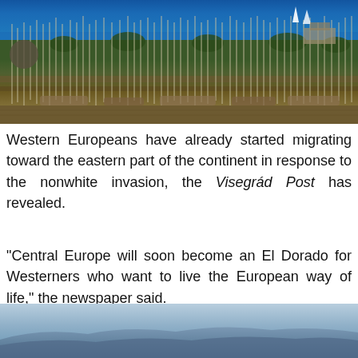[Figure (photo): Aerial view of a marina filled with sailboats and masts, with blue water and palm trees visible in the background.]
Western Europeans have already started migrating toward the eastern part of the continent in response to the nonwhite invasion, the Visegrád Post has revealed.
“Central Europe will soon become an El Dorado for Westerners who want to live the European way of life,” the newspaper said.
[Figure (photo): Hazy blue aerial view of distant hills or mountains over water.]